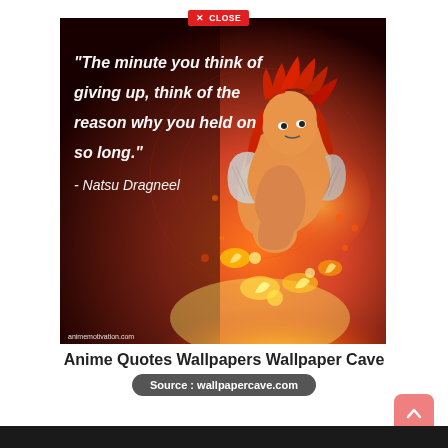[Figure (illustration): Anime motivational quote image featuring Natsu Dragneel from Fairy Tail with red spiky hair, muscular pose surrounded by fire and red glowing effects. White italic text reads: "The minute you think of giving up, think of the reason why you held on so long." - Natsu Dragneel. Watermark says animemotivation.com. Red 'X CLOSE' button overlay at top center.]
Anime Quotes Wallpapers Wallpaper Cave
Source : wallpapercave.com